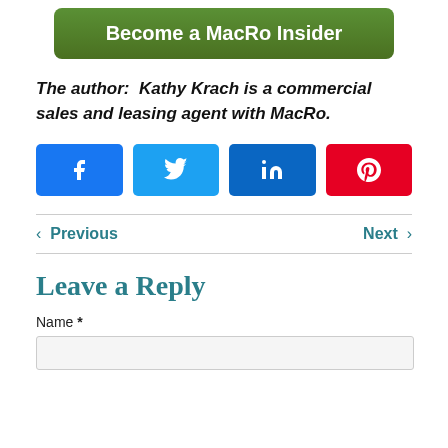[Figure (illustration): Green rounded button with white bold text reading 'Become a MacRo Insider']
The author: Kathy Krach is a commercial sales and leasing agent with MacRo.
[Figure (infographic): Four social share buttons: Facebook (blue), Twitter (light blue), LinkedIn (dark blue), Pinterest (red) each with respective icons]
< Previous
Next >
Leave a Reply
Name *